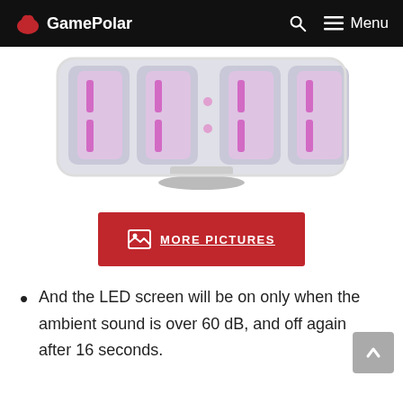GamePolar
[Figure (photo): A 3D LED digital clock with pink/purple glowing digits on a white stand, shown at an angle from above.]
[Figure (other): MORE PICTURES button in red with an image icon]
And the LED screen will be on only when the ambient sound is over 60 dB, and off again after 16 seconds.